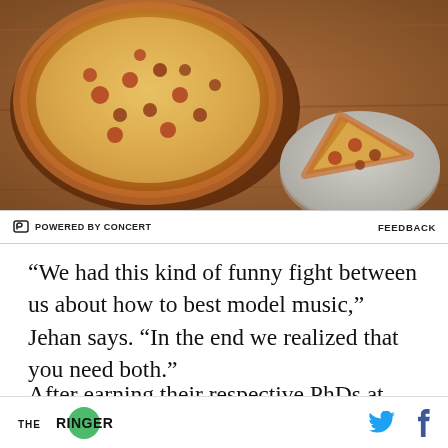[Figure (photo): A whole pizza on a wooden board and a single slice on a gray ceramic plate, on a wooden table surface.]
POWERED BY CONCERT   FEEDBACK
“We had this kind of funny fight between us about how to best model music,” Jehan says. “In the end we realized that you need both.”
After earning their respective PhDs at MIT in 2005, the pair launched the Echo Nest, a music
THE RINGER